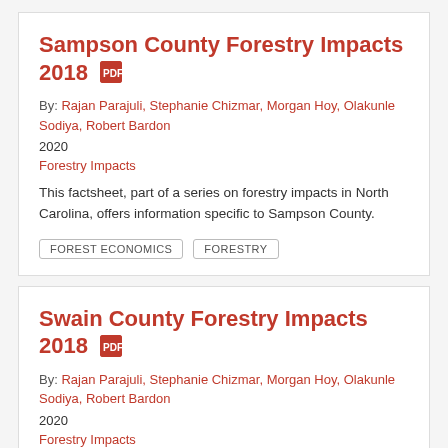Sampson County Forestry Impacts 2018
By: Rajan Parajuli, Stephanie Chizmar, Morgan Hoy, Olakunle Sodiya, Robert Bardon
2020
Forestry Impacts
This factsheet, part of a series on forestry impacts in North Carolina, offers information specific to Sampson County.
FOREST ECONOMICS  FORESTRY
Swain County Forestry Impacts 2018
By: Rajan Parajuli, Stephanie Chizmar, Morgan Hoy, Olakunle Sodiya, Robert Bardon
2020
Forestry Impacts
This factsheet, part of a series on forestry impacts in